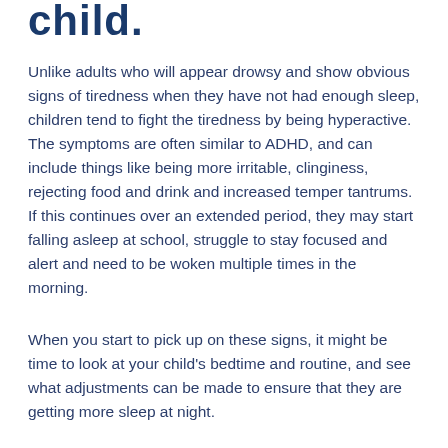child.
Unlike adults who will appear drowsy and show obvious signs of tiredness when they have not had enough sleep, children tend to fight the tiredness by being hyperactive. The symptoms are often similar to ADHD, and can include things like being more irritable, clinginess, rejecting food and drink and increased temper tantrums.
If this continues over an extended period, they may start falling asleep at school, struggle to stay focused and alert and need to be woken multiple times in the morning.
When you start to pick up on these signs, it might be time to look at your child's bedtime and routine, and see what adjustments can be made to ensure that they are getting more sleep at night.